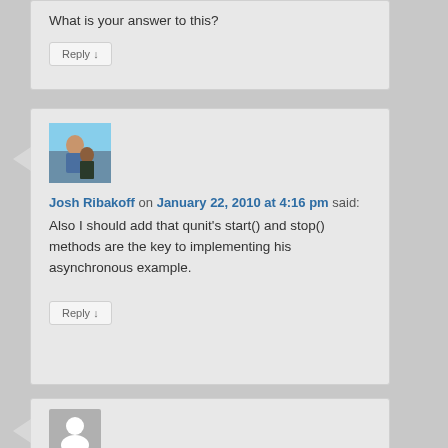What is your answer to this?
Reply ↓
Josh Ribakoff on January 22, 2010 at 4:16 pm said:
Also I should add that qunit's start() and stop() methods are the key to implementing his asynchronous example.
Reply ↓
[Figure (photo): Avatar photo placeholder at bottom of page]